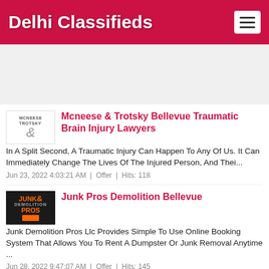Delhi Classifieds
[Figure (other): Advertisement banner area (blank/gray)]
Mcneese & Trotsky Bellevue Traumatic Brain Injury Lawyers
In A Split Second, A Traumatic Injury Can Happen To Any Of Us. It Can Immediately Change The Lives Of The Injured Person, And Thei...
Jun 23, 2022 4:03:21 AM  |  Offer  |  Hits: 118
Junk Pros Demolition Bellevue
Junk Demolition Pros Llc Provides Simple To Use Online Booking System That Allows You To Rent A Dumpster Or Junk Removal Anytime ...
Jun 28, 2022 9:47:07 AM  |  Offer  |  Hits: 145
Premium Quality Louvers - E3